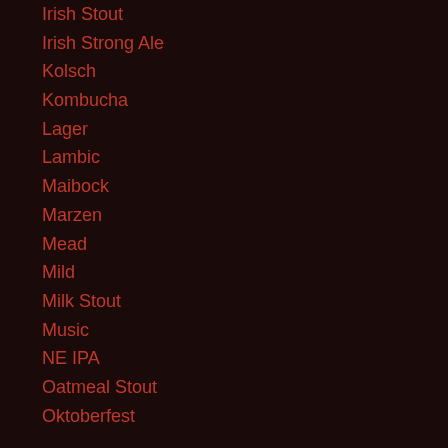Irish Stout
Irish Strong Ale
Kolsch
Kombucha
Lager
Lambic
Maibock
Marzen
Mead
Mild
Milk Stout
Music
NE IPA
Oatmeal Stout
Oktoberfest